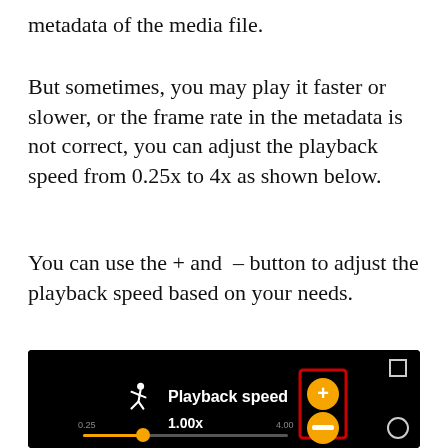metadata of the media file.
But sometimes, you may play it faster or slower, or the frame rate in the metadata is not correct, you can adjust the playback speed from 0.25x to 4x as shown below.
You can use the + and – button to adjust the playback speed based on your needs.
[Figure (screenshot): Screenshot of a media player interface showing playback speed control with a running figure icon, 'Playback speed' label, plus and minus buttons highlighted in red, a slider from 0.25 to 4.00 with current value 1.00x, and a circle icon on the right.]